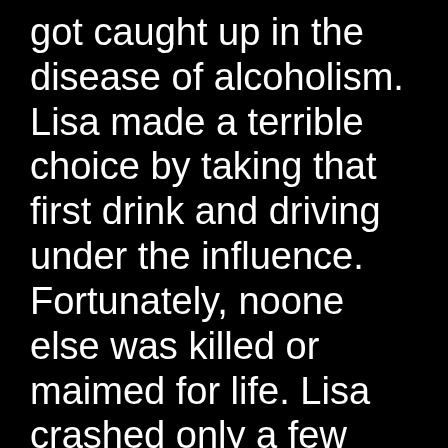got caught up in the disease of alcoholism. Lisa made a terrible choice by taking that first drink and driving under the influence. Fortunately, noone else was killed or maimed for life. Lisa crashed only a few blocks away from home and never made it back.
The messages are